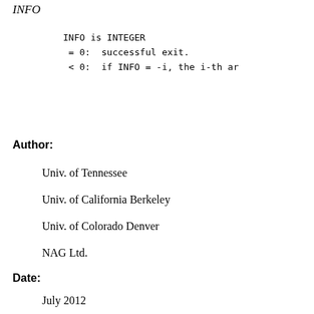INFO
INFO is INTEGER
 = 0:  successful exit.
 < 0:  if INFO = -i, the i-th ar
Author:
Univ. of Tennessee
Univ. of California Berkeley
Univ. of Colorado Denver
NAG Ltd.
Date:
July 2012